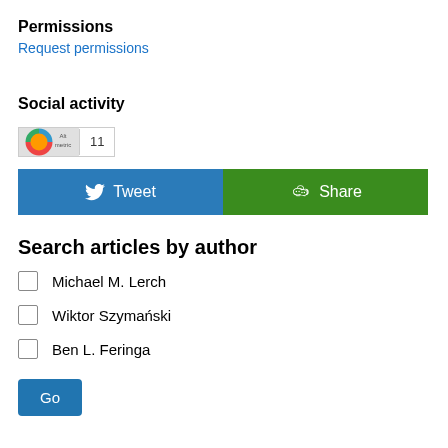Permissions
Request permissions
Social activity
[Figure (other): Altmetric badge showing score 11]
[Figure (infographic): Tweet and Share social buttons]
Search articles by author
Michael M. Lerch
Wiktor Szymański
Ben L. Feringa
Go